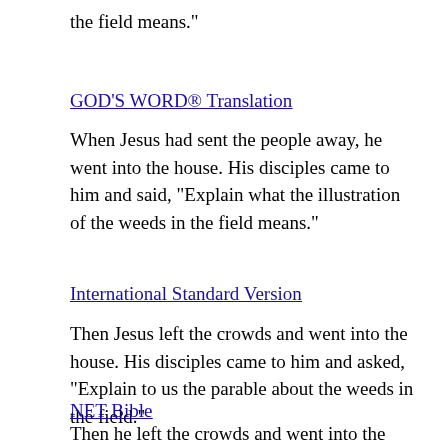the field means.”
GOD’S WORD® Translation
When Jesus had sent the people away, he went into the house. His disciples came to him and said, “Explain what the illustration of the weeds in the field means.”
International Standard Version
Then Jesus left the crowds and went into the house. His disciples came to him and asked, “Explain to us the parable about the weeds in the field.”
NET Bible
Then he left the crowds and went into the